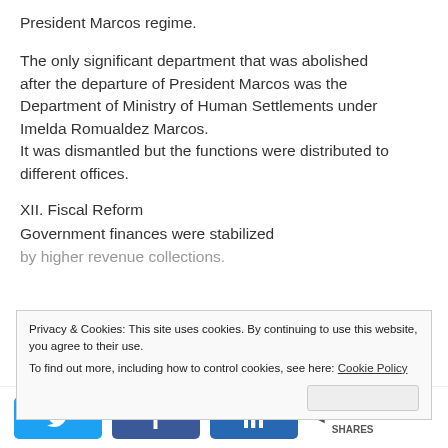President Marcos regime.
The only significant department that was abolished after the departure of President Marcos was the Department of Ministry of Human Settlements under Imelda Romualdez Marcos. It was dismantled but the functions were distributed to different offices.
XII. Fiscal Reform
Government finances were stabilized by higher revenue collections.
Privacy & Cookies: This site uses cookies. By continuing to use this website, you agree to their use. To find out more, including how to control cookies, see here: Cookie Policy
1K SHARES